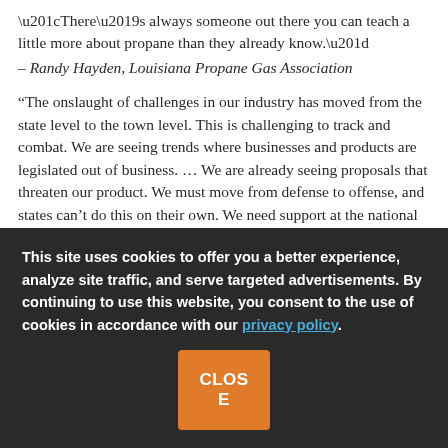“There’s always someone out there you can teach a little more about propane than they already know.” – Randy Hayden, Louisiana Propane Gas Association
“The onslaught of challenges in our industry has moved from the state level to the town level. This is challenging to track and combat. We are seeing trends where businesses and products are legislated out of business. … We are already seeing proposals that threaten our product. We must move from defense to offense, and states can’t do this on their own. We need support at the national level.” – Leslie Anderson, Propane Gas Association of New England
This site uses cookies to offer you a better experience, analyze site traffic, and serve targeted advertisements. By continuing to use this website, you consent to the use of cookies in accordance with our privacy policy.